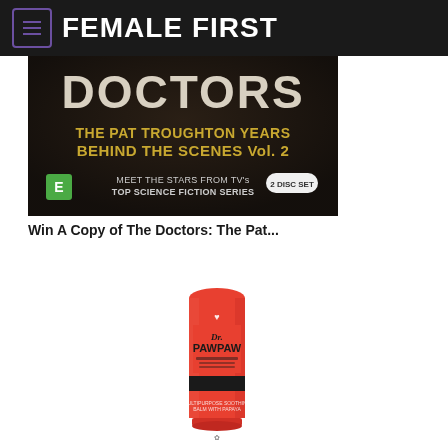FEMALE FIRST
[Figure (photo): Doctors: The Pat Troughton Years Behind The Scenes Vol. 2 DVD cover image with yellow text on dark background and green E rating badge]
Win A Copy of The Doctors: The Pat...
[Figure (photo): Dr. PawPaw red tube product photo on white background]